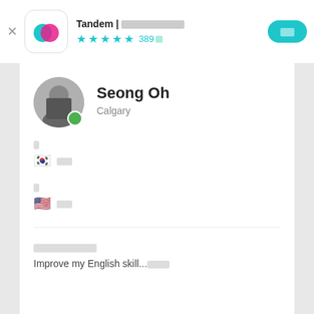Tandem | 언어교환 파트너 찾기 ★★★★½ 389개
Seong Oh
Calgary
🇰🇷 한국어
🇺🇸 영어
나를 소개합니다
Improve my English skill...더보기